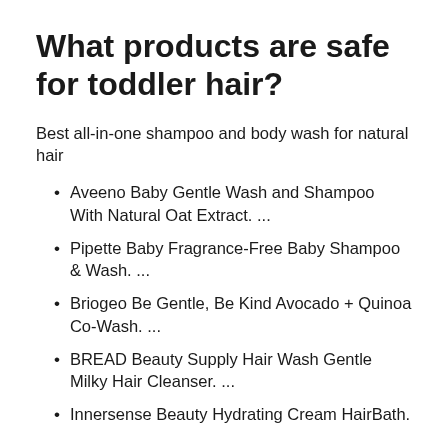What products are safe for toddler hair?
Best all-in-one shampoo and body wash for natural hair
Aveeno Baby Gentle Wash and Shampoo With Natural Oat Extract. ...
Pipette Baby Fragrance-Free Baby Shampoo & Wash. ...
Briogeo Be Gentle, Be Kind Avocado + Quinoa Co-Wash. ...
BREAD Beauty Supply Hair Wash Gentle Milky Hair Cleanser. ...
Innersense Beauty Hydrating Cream HairBath.